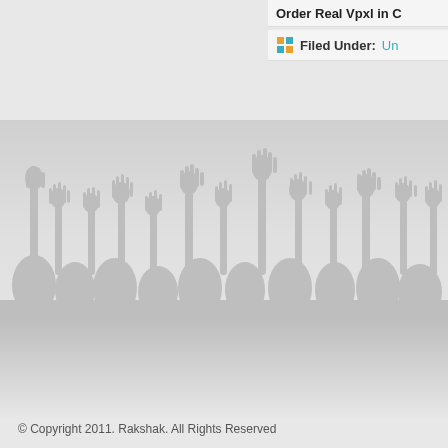Order Real Vpxl in C
Filed Under: Un
[Figure (illustration): Silhouette of a crowd with raised hands and arms against a light gray textured background]
© Copyright 2011. Rakshak. All Rights Reserved